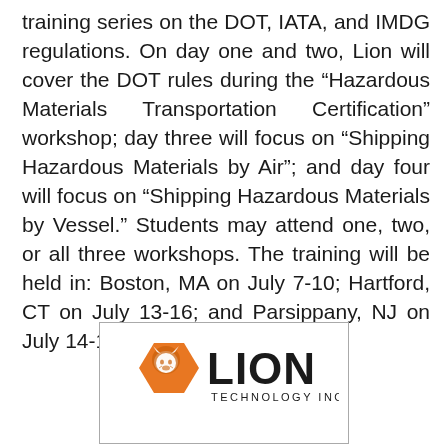training series on the DOT, IATA, and IMDG regulations. On day one and two, Lion will cover the DOT rules during the “Hazardous Materials Transportation Certification” workshop; day three will focus on “Shipping Hazardous Materials by Air”; and day four will focus on “Shipping Hazardous Materials by Vessel.” Students may attend one, two, or all three workshops. The training will be held in: Boston, MA on July 7-10; Hartford, CT on July 13-16; and Parsippany, NJ on July 14-17.
[Figure (logo): Lion Technology Inc. logo: an orange hexagon with a lion head silhouette on the left, and bold black text LION with TECHNOLOGY INC. below]